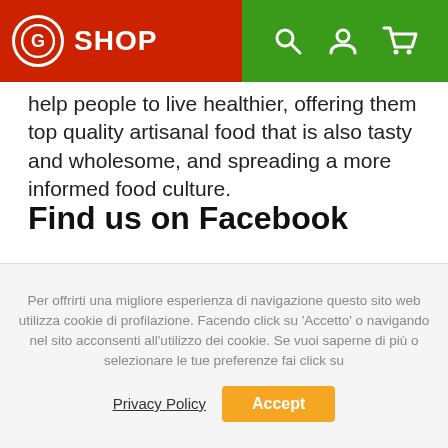G SHOP [search icon] [user icon] [cart icon]
help people to live healthier, offering them top quality artisanal food that is also tasty and wholesome, and spreading a more informed food culture.
Find us on Facebook
Per offrirti una migliore esperienza di navigazione questo sito web utilizza cookie di profilazione. Facendo click su 'Accetto' o navigando nel sito acconsenti all'utilizzo dei cookie. Se vuoi saperne di più o selezionare le tue preferenze fai click su
Privacy Policy  Accept